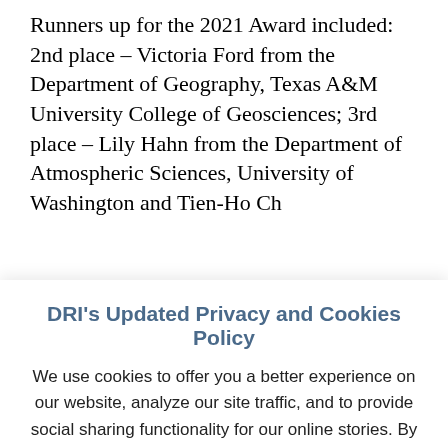Runners up for the 2021 Award included: 2nd place – Victoria Ford from the Department of Geography, Texas A&M University College of Geosciences; 3rd place – Lily Hahn from the Department of Atmospheric Sciences, University of Washington and Tien-Ho Ch...
DRI's Updated Privacy and Cookies Policy
We use cookies to offer you a better experience on our website, analyze our site traffic, and to provide social sharing functionality for our online stories. By continuing to use this website, you consent to the use of cookies in accordance with our cookie policy.
ACCEPT   REJECT